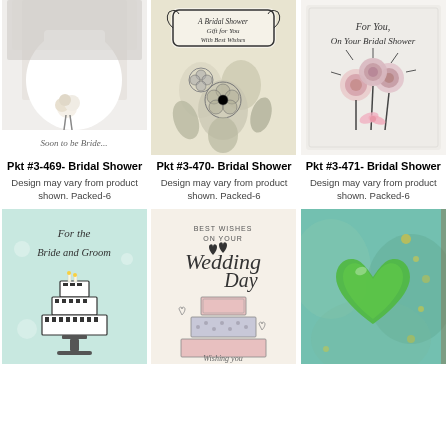[Figure (photo): Bridal shower greeting card showing bride holding bouquet, text 'Soon to be Bride...']
[Figure (photo): Bridal shower greeting card with floral illustrations and text 'A Bridal Shower Gift for You With Best Wishes']
[Figure (photo): Bridal shower greeting card with floral bouquet illustration and text 'For You, On Your Bridal Shower']
Pkt #3-469- Bridal Shower
Pkt #3-470- Bridal Shower
Pkt #3-471- Bridal Shower
Design may vary from product shown. Packed-6
Design may vary from product shown. Packed-6
Design may vary from product shown. Packed-6
[Figure (photo): Wedding card 'For the Bride and Groom' with wedding cake illustration]
[Figure (photo): Wedding day card 'Best Wishes on Your Wedding Day' with decorative cake illustration and text 'Wishing you happiness']
[Figure (photo): Wedding card with green heart cutout on teal/watercolor background]